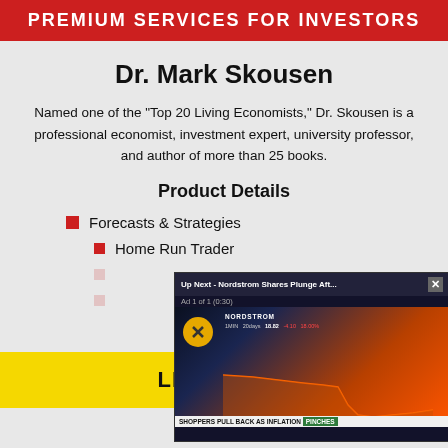PREMIUM SERVICES FOR INVESTORS
Dr. Mark Skousen
Named one of the "Top 20 Living Economists," Dr. Skousen is a professional economist, investment expert, university professor, and author of more than 25 books.
Product Details
Forecasts & Strategies
Home Run Trader
(partially obscured)
(partially obscured)
[Figure (screenshot): Video ad overlay showing Nordstrom stock chart with title 'Up Next - Nordstrom Shares Plunge Aft...' and bottom ticker 'SHOPPERS PULL BACK AS INFLATION PINCHES']
LEARN MORE